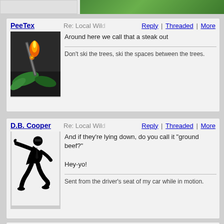[Figure (photo): Top strip with a partial grey block on left and a green grass/nature image on the right]
PeeTex | Re: Local Wil | Reply | Threaded | More
Around here we call that a steak out
Don't ski the trees, ski the spaces between the trees.
[Figure (photo): Avatar image of a flame/torch on dark background with green leaf]
D.B. Cooper | Re: Local Wil | Reply | Threaded | More
And if they're lying down, do you call it "ground beef?"

Hey-yo!
Sent from the driver's seat of my car while in motion.
[Figure (illustration): Avatar silhouette of a person dancing in a suit with sunglasses]
campgottagopee | Re: Local Wil | Reply | Threaded | More
[Figure (photo): Partial avatar image at the bottom, light colored with thin lines]